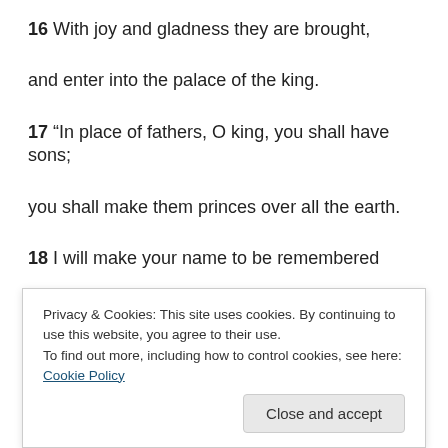16 With joy and gladness they are brought,
and enter into the palace of the king.
17 “In place of fathers, O king, you shall have sons;
you shall make them princes over all the earth.
18 I will make your name to be remembered
from one generation to another;
therefore nations will praise you for ever and ever.”
Privacy & Cookies: This site uses cookies. By continuing to use this website, you agree to their use. To find out more, including how to control cookies, see here: Cookie Policy